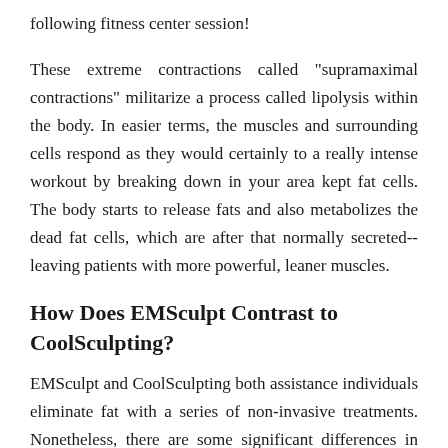following fitness center session!
These extreme contractions called "supramaximal contractions" militarize a process called lipolysis within the body. In easier terms, the muscles and surrounding cells respond as they would certainly to a really intense workout by breaking down in your area kept fat cells. The body starts to release fats and also metabolizes the dead fat cells, which are after that normally secreted-- leaving patients with more powerful, leaner muscles.
How Does EMSculpt Contrast to CoolSculpting?
EMSculpt and CoolSculpting both assistance individuals eliminate fat with a series of non-invasive treatments. Nonetheless, there are some significant differences in between the two. CoolSculpting does